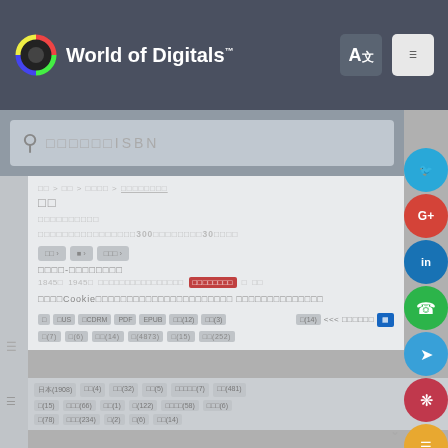[Figure (screenshot): World of Digitals website header with logo, language icon, and hamburger menu on dark background]
[Figure (screenshot): Search bar with ISBN placeholder on grey background, social sharing icons on right side]
□□ > □□ > □□□□ > □□□□□□□□
□□
□□□□□□□□□□
□□□□□□□□□□□□□□□□300□□□□□□□□30□□□□
□□□□-□□□□□□□□
□□□□□□□□□□□□□□□□□□□□□□□□
□□□□Cookie□□□□□□□□□□□□□□□□□□□□□□ □□□□□□□□□□□□□□
□ □US □CDRM PDF EPUB □□□(12) □□(3) □(14) <<< □□□□□□
□(7) □(6) □□(14) □(4873) □(15) □□(252)
日本(1908) □□(4) □□(32) □□(5) □□□□□(7) □□(481)
□(15) □□□(66) □□(1) □(122) □□□□(58) □□□(6)
□(78) □□□(234) □(2) □(6) □□(14)